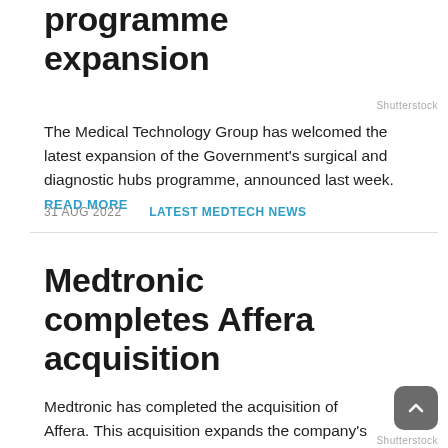programme expansion
The Medical Technology Group has welcomed the latest expansion of the Government's surgical and diagnostic hubs programme, announced last week. READ MORE
31 AUG 2022   LATEST MEDTECH NEWS
Medtronic completes Affera acquisition
Medtronic has completed the acquisition of Affera. This acquisition expands the company's cardiac ablation portfolio to include its
[Figure (other): Shutterstock watermark text (top right)]
[Figure (other): Shutterstock watermark text (bottom right) with scroll-to-top button]